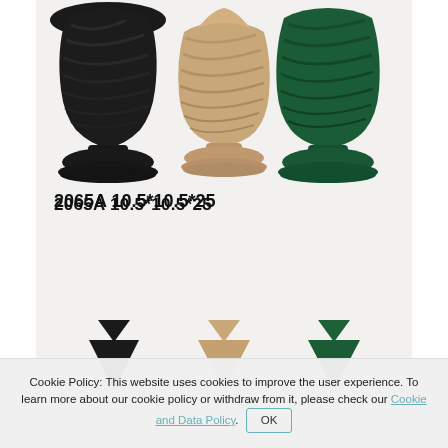[Figure (photo): Product photo showing three decorative figurines with twisted/swirled design on top and rounded base, in black, tan/beige, and dark green colors, displayed on a white surface. Below them, partially visible, are three smaller triangular/cone-shaped figurines in the same three colors. Product label '2065A 10.5*10.5*25' is printed in the middle of the image.]
2065A 10.5*10.5*25
Cookie Policy: This website uses cookies to improve the user experience. To learn more about our cookie policy or withdraw from it, please check our Cookie and Data Policy. OK